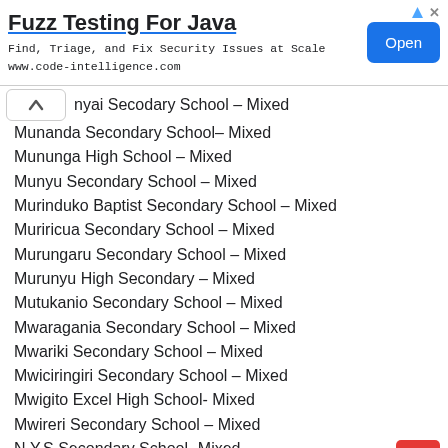[Figure (screenshot): Advertisement banner: 'Fuzz Testing For Java' with subtitle 'Find, Triage, and Fix Security Issues at Scale' and URL 'www.code-intelligence.com', with an 'Open' button on the right.]
nyai Secodary School – Mixed
Munanda Secondary School– Mixed
Mununga High School – Mixed
Munyu Secondary School – Mixed
Murinduko Baptist Secondary School – Mixed
Muriricua Secondary School – Mixed
Murungaru Secondary School – Mixed
Murunyu High Secondary – Mixed
Mutukanio Secondary School – Mixed
Mwaragania Secondary School – Mixed
Mwariki Secondary School – Mixed
Mwiciringiri Secondary School – Mixed
Mwigito Excel High School- Mixed
Mwireri Secondary School – Mixed
N.Y.S Secondary School- Mixed
Nairobi Road Secondary School – Mixed